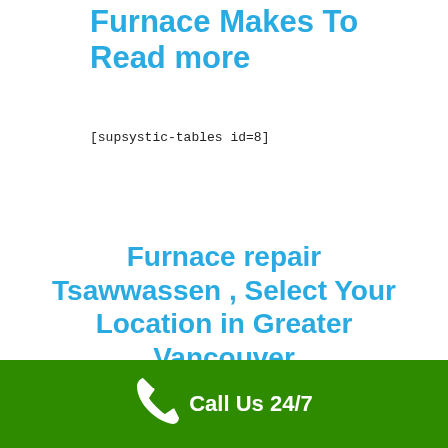Furnace Makes To Read more
[supsystic-tables id=8]
Furnace repair Tsawwassen , Select Your Location in Greater Vancouver
Call Us 24/7